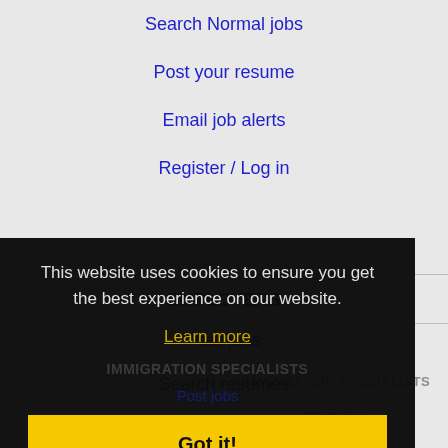Search Normal jobs
Post your resume
Email job alerts
Register / Log in
EMPLOYERS
Post jobs
Search resumes
Email resume alerts
This website uses cookies to ensure you get the best experience on our website.
Learn more
IMMIGRATION SPECIALISTS
Post jobs
Immigration FAQ
Learn more
Got it!